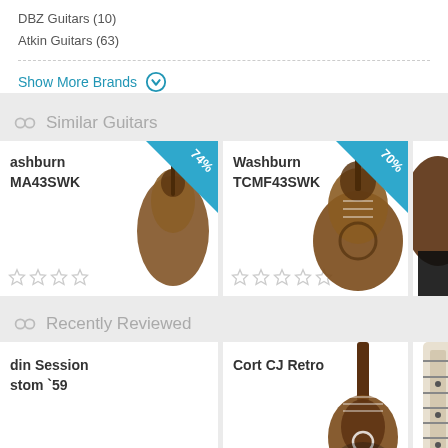DBZ Guitars (10)
Atkin Guitars (63)
Show More Brands
Similar Guitars
[Figure (photo): Washburn TCMA43SWK guitar card with 74% badge and star rating]
[Figure (photo): Washburn TCMF43SWK mandolin photo card with 70% badge and star rating]
[Figure (photo): Partial guitar card on right edge]
Recently Reviewed
[Figure (photo): Adin Session Custom '59 guitar card]
[Figure (photo): Guitar photo in center card for recently reviewed]
Cort CJ Retro
[Figure (photo): Partial guitar neck card on right edge]